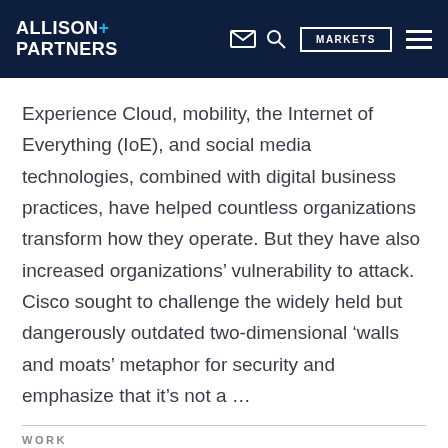ALLISON+ PARTNERS | MARKETS
Experience Cloud, mobility, the Internet of Everything (IoE), and social media technologies, combined with digital business practices, have helped countless organizations transform how they operate. But they have also increased organizations’ vulnerability to attack. Cisco sought to challenge the widely held but dangerously outdated two-dimensional ‘walls and moats’ metaphor for security and emphasize that it’s not a …
WORK
[Figure (photo): Two partial photo thumbnails at the bottom of the page, left showing a grey/dark image and right showing a blue-toned image, partially visible.]